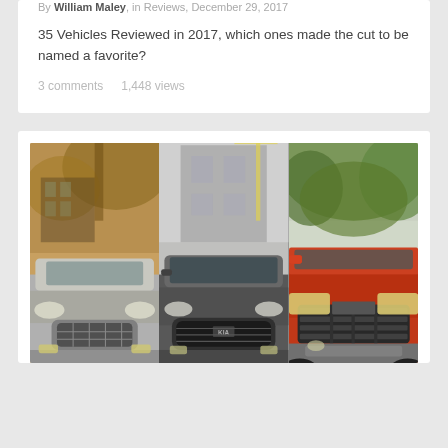By William Maley, in Reviews, December 29, 2017
35 Vehicles Reviewed in 2017, which ones made the cut to be named a favorite?
3 comments   1,448 views
[Figure (photo): Composite of three vehicle front-end photos side by side: left is a silver Infiniti sedan in autumn setting, center is a dark grey Kia sedan in urban setting, right is a red/orange truck (Toyota Tundra style) in green tree setting.]